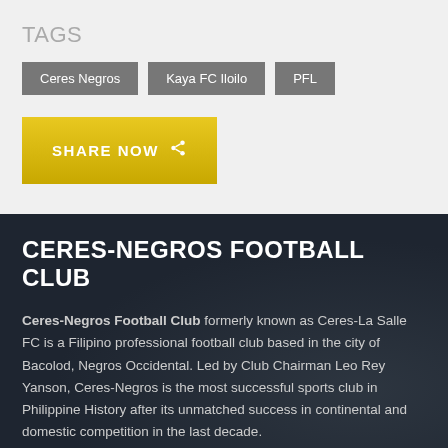TAGS
Ceres Negros
Kaya FC Iloilo
PFL
SHARE NOW
CERES-NEGROS FOOTBALL CLUB
Ceres-Negros Football Club formerly known as Ceres-La Salle FC is a Filipino professional football club based in the city of Bacolod, Negros Occidental. Led by Club Chairman Leo Rey Yanson, Ceres-Negros is the most successful sports club in Philippine History after its unmatched success in continental and domestic competition in the last decade.
CONTACT US